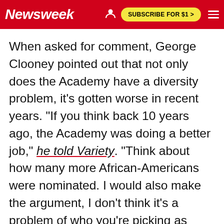Newsweek | SUBSCRIBE FOR $1 >
When asked for comment, George Clooney pointed out that not only does the Academy have a diversity problem, it's gotten worse in recent years. "If you think back 10 years ago, the Academy was doing a better job," he told Variety. "Think about how many more African-Americans were nominated. I would also make the argument, I don't think it's a problem of who you're picking as much as it is: How many options are available to minorities in film, particularly in quality films?"